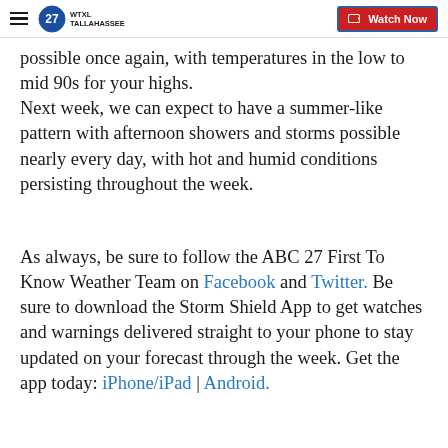WTXL TALLAHASSEE | Watch Now
possible once again, with temperatures in the low to mid 90s for your highs. Next week, we can expect to have a summer-like pattern with afternoon showers and storms possible nearly every day, with hot and humid conditions persisting throughout the week.
As always, be sure to follow the ABC 27 First To Know Weather Team on Facebook and Twitter. Be sure to download the Storm Shield App to get watches and warnings delivered straight to your phone to stay updated on your forecast through the week. Get the app today: iPhone/iPad | Android.